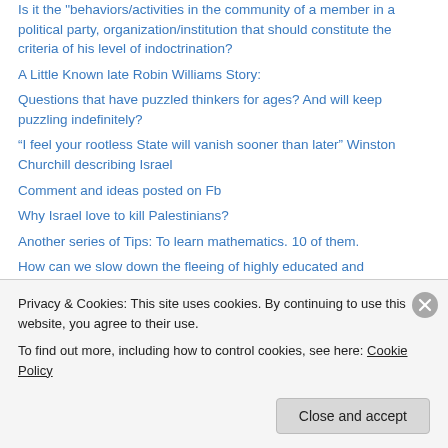Is it the "behaviors/activities in the community of a member in a political party, organization/institution that should constitute the criteria of his level of indoctrination?
A Little Known late Robin Williams Story:
Questions that have puzzled thinkers for ages? And will keep puzzling indefinitely?
“I feel your rootless State will vanish sooner than later” Winston Churchill describing Israel
Comment and ideas posted on Fb
Why Israel love to kill Palestinians?
Another series of Tips: To learn mathematics. 10 of them.
How can we slow down the fleeing of highly educated and professional Lebanese?
More tidbits I posted on Fb
Privacy & Cookies: This site uses cookies. By continuing to use this website, you agree to their use.
To find out more, including how to control cookies, see here: Cookie Policy